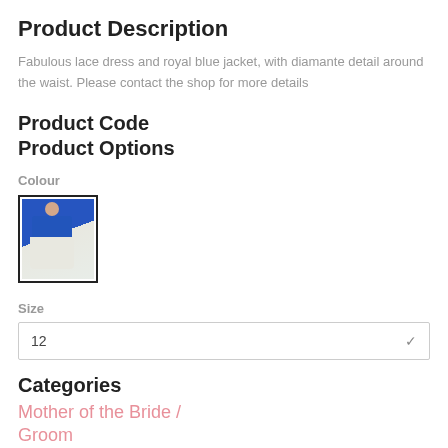Product Description
Fabulous lace dress and royal blue jacket, with diamante detail around the waist. Please contact the shop for more details
Product Code
Product Options
Colour
[Figure (photo): Small thumbnail image of a blue jacket and white/lace dress outfit on a model]
Size
12
Categories
Mother of the Bride / Groom